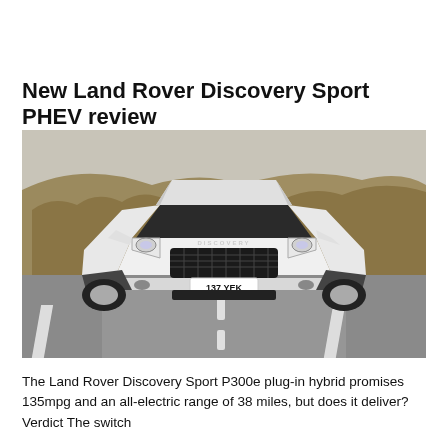New Land Rover Discovery Sport PHEV review
[Figure (photo): Front view of a white Land Rover Discovery Sport with licence plate 137 YEK, driving on a road with moorland in the background.]
The Land Rover Discovery Sport P300e plug-in hybrid promises 135mpg and an all-electric range of 38 miles, but does it deliver? Verdict The switch